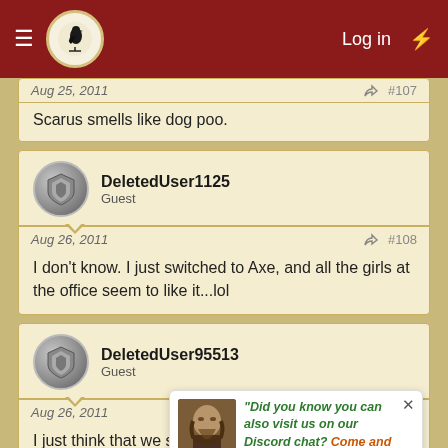Log in
Scarus smells like dog poo.
DeletedUser1125 Guest
Aug 26, 2011 #108
I don't know. I just switched to Axe, and all the girls at the office seem to like it...lol
DeletedUser95513 Guest
Aug 26, 2011 #109
I just think that we should all join REB, kick the inactives and
Did you know you can also visit us on our Discord chat? Come and meet us!